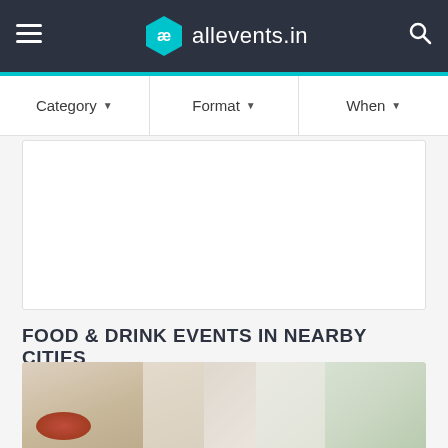allevents.in
Category  Format  When
[Figure (screenshot): White content/ad box area]
FOOD & DRINK EVENTS IN NEARBY CITIES
[Figure (photo): Person cooking — hands preparing food, bowl with red sauce on left, green garnish on right]